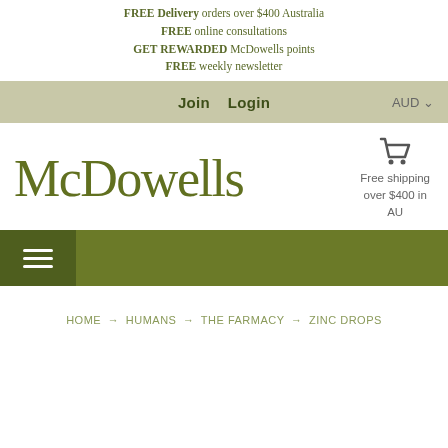FREE Delivery orders over $400 Australia
FREE online consultations
GET REWARDED McDowells points
FREE weekly newsletter
Join   Login   AUD
[Figure (logo): McDowells logo in olive green serif font]
Free shipping over $400 in AU
[Figure (other): Hamburger menu icon on dark olive green navigation bar]
HOME → HUMANS → THE FARMACY → ZINC DROPS